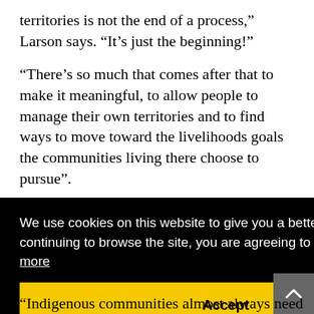territories is not the end of a process,” Larson says. “It’s just the beginning!”
“There’s so much that comes after that to make it meaningful, to allow people to manage their own territories and to find ways to move toward the livelihoods goals the communities living there choose to pursue”.
We use cookies on this website to give you a better user experience. By continuing to browse the site, you are agreeing to our use of cookies. Learn more
Accept
“Indigenous communities almost always need